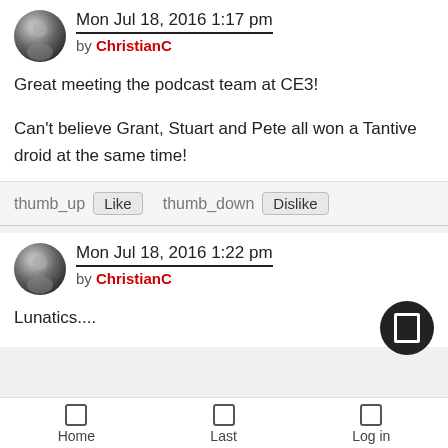Mon Jul 18, 2016 1:17 pm
by ChristianC
Great meeting the podcast team at CE3!

Can't believe Grant, Stuart and Pete all won a Tantive droid at the same time!
thumb_up  Like    thumb_down  Dislike
Mon Jul 18, 2016 1:22 pm
by ChristianC
Lunatics....
Home  Last  Log in